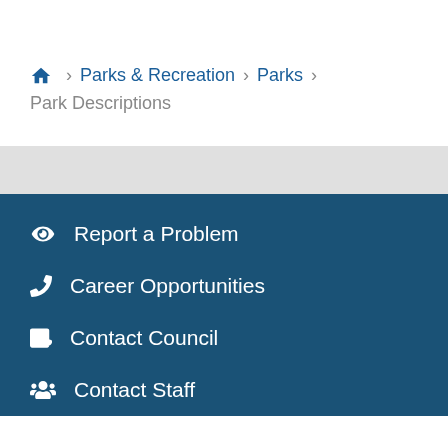Home > Parks & Recreation > Parks > Park Descriptions
Report a Problem
Career Opportunities
Contact Council
Contact Staff